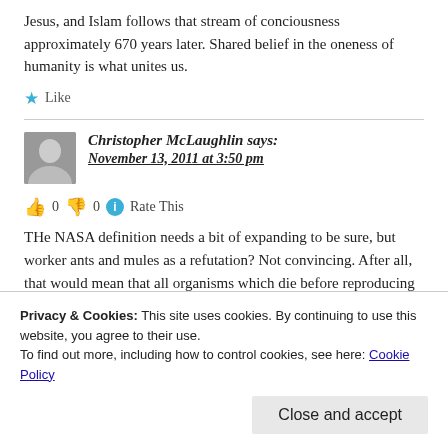Jesus, and Islam follows that stream of conciousness approximately 670 years later. Shared belief in the oneness of humanity is what unites us.
★ Like
Christopher McLaughlin says: November 13, 2011 at 3:50 pm
👍 0 👎 0 ℹ Rate This
THe NASA definition needs a bit of expanding to be sure, but worker ants and mules as a refutation? Not convincing. After all, that would mean that all organisms which die before reproducing would then be, after the fact, reclassified as non-life. But, sterile
Privacy & Cookies: This site uses cookies. By continuing to use this website, you agree to their use.
To find out more, including how to control cookies, see here: Cookie Policy
Close and accept
organism cannot. So, on a cellular level, they satisfy